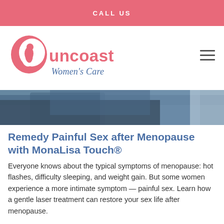CALL US
[Figure (logo): Suncoast Women's Care logo with pink S-shaped figure and text]
[Figure (photo): Hero image showing a person in blue clothing, partial view]
Remedy Painful Sex after Menopause with MonaLisa Touch®
Everyone knows about the typical symptoms of menopause: hot flashes, difficulty sleeping, and weight gain. But some women experience a more intimate symptom — painful sex. Learn how a gentle laser treatment can restore your sex life after menopause.